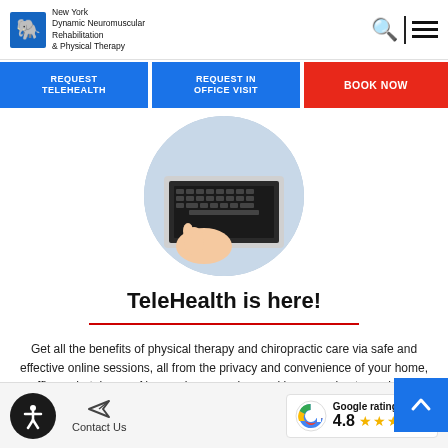New York Dynamic Neuromuscular Rehabilitation & Physical Therapy
REQUEST TELEHEALTH
REQUEST IN OFFICE VISIT
BOOK NOW
[Figure (photo): Circular cropped photo of person's hands on a laptop keyboard]
TeleHealth is here!
Get all the benefits of physical therapy and chiropractic care via safe and effective online sessions, all from the privacy and convenience of your home, office or hotel room. Never miss a session, and keep moving toward your physical
Contact Us | Google rating 4.8